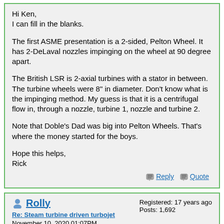Hi Ken,
I can fill in the blanks.

The first ASME presentation is a 2-sided, Pelton Wheel. It has 2-DeLaval nozzles impinging on the wheel at 90 degree apart.

The British LSR is 2-axial turbines with a stator in between. The turbine wheels were 8" in diameter. Don't know what is the impinging method. My guess is that it is a centrifugal flow in, through a nozzle, turbine 1, nozzle and turbine 2.

Note that Doble's Dad was big into Pelton Wheels. That's where the money started for the boys.

Hope this helps,
Rick
Reply  Quote
Rolly
Re: Steam turbine driven turbojet
November 10, 2020 01:07PM
Registered: 17 years ago
Posts: 1,692